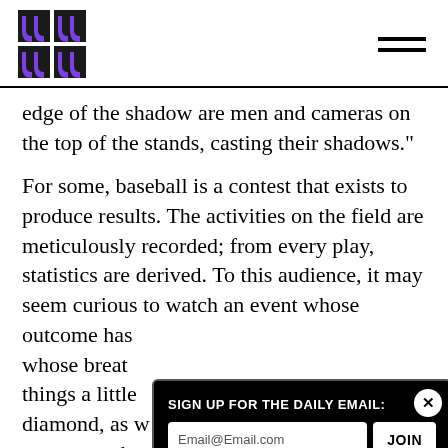[Logo: Spectator Sport] [Hamburger menu]
edge of the shadow are men and cameras on the top of the stands, casting their shadows."
For some, baseball is a contest that exists to produce results. The activities on the field are meticulously recorded; from every play, statistics are derived. To this audience, it may seem curious to watch an event whose outcome has [obscured] whose breath [obscured] things a little [obscured] diamond, as w[obscured] recommend to your afternoon a few hours of
[Figure (screenshot): Email signup popup overlay with black background, title 'SIGN UP FOR THE DAILY EMAIL:', email input field showing 'Email@Email.com', and a JOIN button. Close (X) button in top right corner.]